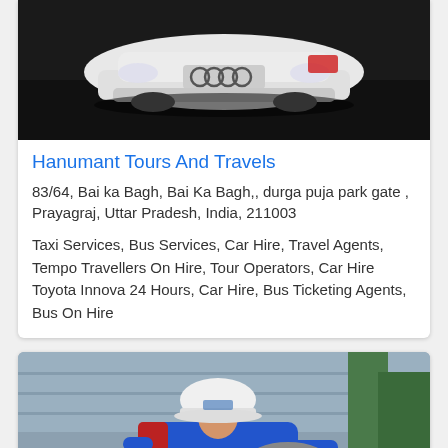[Figure (photo): Photo of a white Audi car viewed from the front, shot from above in a dark setting]
Hanumant Tours And Travels
83/64, Bai ka Bagh, Bai Ka Bagh,, durga puja park gate , Prayagraj, Uttar Pradesh, India, 211003
Taxi Services, Bus Services, Car Hire, Travel Agents, Tempo Travellers On Hire, Tour Operators, Car Hire Toyota Innova 24 Hours, Car Hire, Bus Ticketing Agents, Bus On Hire
[Figure (photo): Photo of a worker in blue uniform and white hard hat working in an industrial/factory setting]